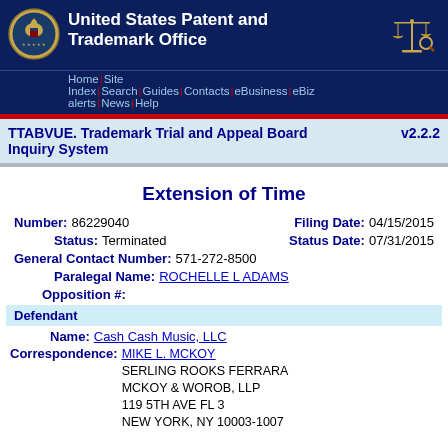United States Patent and Trademark Office
Home | Site Index | Search | Guides | Contacts | eBusiness | eBiz alerts | News | Help
TTABVUE. Trademark Trial and Appeal Board Inquiry System v2.2.2
Extension of Time
Number: 86229040   Filing Date: 04/15/2015   Status: Terminated   Status Date: 07/31/2015   General Contact Number: 571-272-8500   Paralegal Name: ROCHELLE L ADAMS   Opposition #:
Defendant
Name: Cash Cash Music, LLC
Correspondence: MIKE L. MCKOY
SERLING ROOKS FERRARA
MCKOY & WOROB, LLP
119 5TH AVE FL 3
NEW YORK, NY 10003-1007